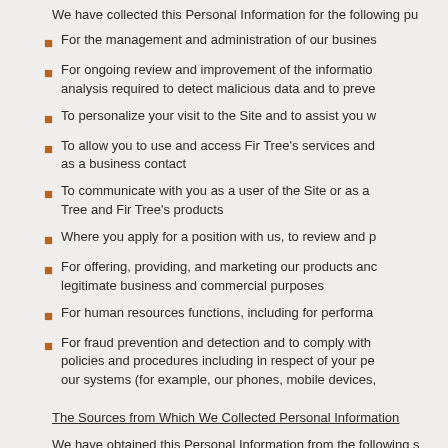We have collected this Personal Information for the following pu
For the management and administration of our busines
For ongoing review and improvement of the informatio analysis required to detect malicious data and to preve
To personalize your visit to the Site and to assist you w
To allow you to use and access Fir Tree's services and as a business contact
To communicate with you as a user of the Site or as a Tree and Fir Tree's products
Where you apply for a position with us, to review and p
For offering, providing, and marketing our products anc legitimate business and commercial purposes
For human resources functions, including for performa
For fraud prevention and detection and to comply with policies and procedures including in respect of your pe our systems (for example, our phones, mobile devices,
The Sources from Which We Collected Personal Information
We have obtained this Personal Information from the following s